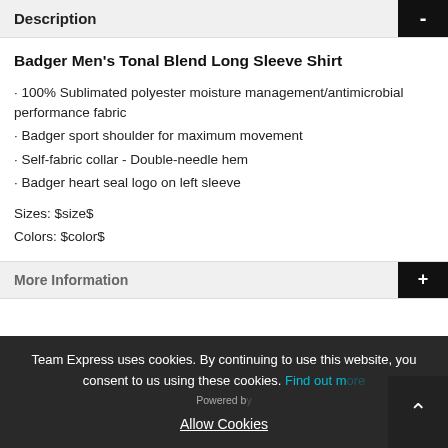Description
Badger Men's Tonal Blend Long Sleeve Shirt
· 100% Sublimated polyester moisture management/antimicrobial performance fabric
· Badger sport shoulder for maximum movement
· Self-fabric collar - Double-needle hem
· Badger heart seal logo on left sleeve
Sizes: $size$
Colors: $color$
More Information
Team Express uses cookies. By continuing to use this website, you consent to us using these cookies. Find out more Allow Cookies